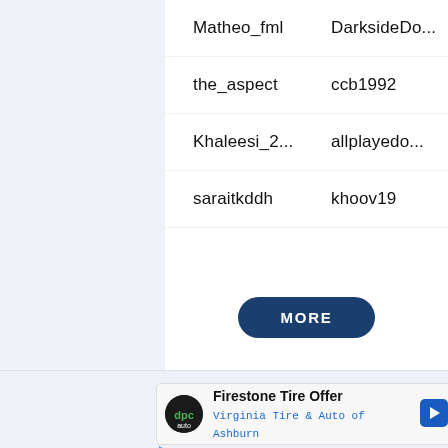Matheo_fml    DarksideDo...
the_aspect    ccb1992
Khaleesi_2...    allplayedo...
saraitkddh    khoov19
MORE
Sicksadworld1317's FML badges
[Figure (screenshot): Advertisement banner: Firestone Tire Offer - Virginia Tire & Auto of Ashburn, with logo and arrow icon]